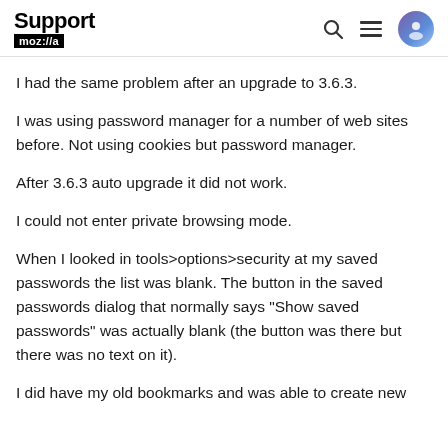Support moz://a
I had the same problem after an upgrade to 3.6.3.
I was using password manager for a number of web sites before. Not using cookies but password manager.
After 3.6.3 auto upgrade it did not work.
I could not enter private browsing mode.
When I looked in tools>options>security at my saved passwords the list was blank. The button in the saved passwords dialog that normally says "Show saved passwords" was actually blank (the button was there but there was no text on it).
I did have my old bookmarks and was able to create new